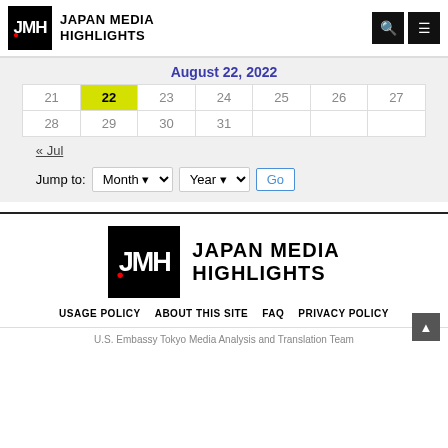Japan Media Highlights
August 22, 2022
| 21 | 22 | 23 | 24 | 25 | 26 | 27 |
| 28 | 29 | 30 | 31 |  |  |  |
« Jul
Jump to: Month ▾  Year ▾  Go
[Figure (logo): Japan Media Highlights logo large, footer version]
USAGE POLICY   ABOUT THIS SITE   FAQ   PRIVACY POLICY
U.S. Embassy Tokyo Media Analysis and Translation Team